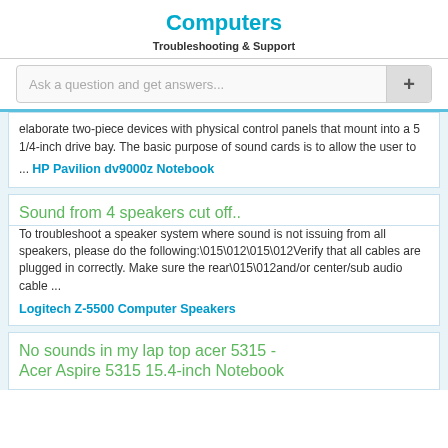Computers
Troubleshooting & Support
Ask a question and get answers...
elaborate two-piece devices with physical control panels that mount into a 5 1/4-inch drive bay. The basic purpose of sound cards is to allow the user to ...
HP Pavilion dv9000z Notebook
Sound from 4 speakers cut off..
To troubleshoot a speaker system where sound is not issuing from all speakers, please do the following:\015\012\015\012Verify that all cables are plugged in correctly. Make sure the rear\015\012and/or center/sub audio cable ...
Logitech Z-5500 Computer Speakers
No sounds in my lap top acer 5315 - Acer Aspire 5315 15.4-inch Notebook